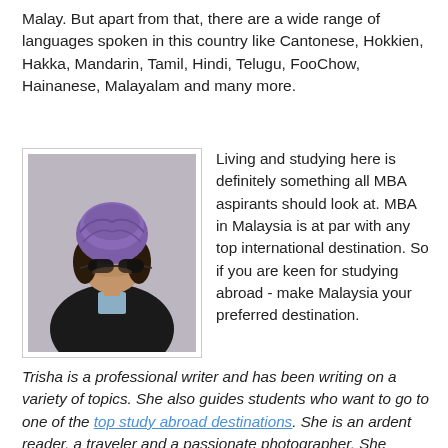Malay. But apart from that, there are a wide range of languages spoken in this country like Cantonese, Hokkien, Hakka, Mandarin, Tamil, Hindi, Telugu, FooChow, Hainanese, Malayalam and many more.
[Figure (photo): A person wearing a purple headwrap and sunglasses, dressed in a black jacket over a light blue shirt, posed in front of a concrete or stone wall.]
Living and studying here is definitely something all MBA aspirants should look at. MBA in Malaysia is at par with any top international destination. So if you are keen for studying abroad - make Malaysia your preferred destination.
Trisha is a professional writer and has been writing on a variety of topics. She also guides students who want to go to one of the top study abroad destinations. She is an ardent reader, a traveler and a passionate photographer. She wants to explore the world and write about whatever comes across her way.